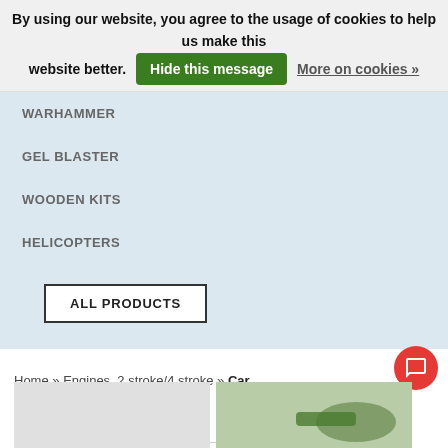By using our website, you agree to the usage of cookies to help us make this website better. Hide this message  More on cookies »
WARHAMMER
GEL BLASTER
WOODEN KITS
HELICOPTERS
ALL PRODUCTS
Home » Engines, 2 stroke/4 stroke » Car
Newest products  12
‹ 1 2 3 4 ›
[Figure (screenshot): Two product thumbnail images at bottom of page, one gray and one showing green engine parts]